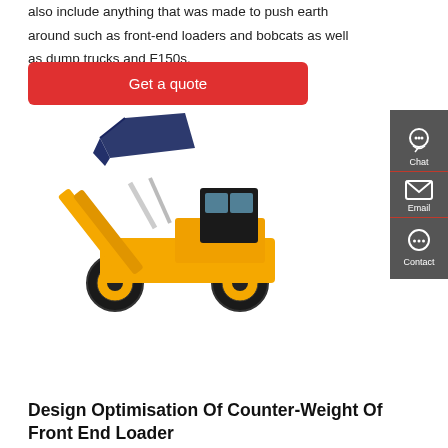also include anything that was made to push earth around such as front-end loaders and bobcats as well as dump trucks and F150s.
Get a quote
[Figure (photo): Yellow front-end loader/wheel loader with blue bucket raised, shown on white background]
Design Optimisation Of Counter-Weight Of Front End Loader